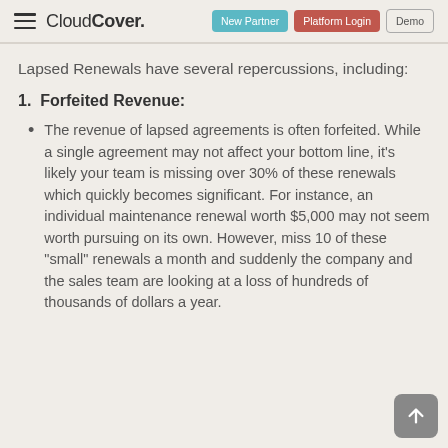CloudCover. | New Partner | Platform Login | Demo
Lapsed Renewals have several repercussions, including:
1.  Forfeited Revenue:
The revenue of lapsed agreements is often forfeited. While a single agreement may not affect your bottom line, it's likely your team is missing over 30% of these renewals which quickly becomes significant. For instance, an individual maintenance renewal worth $5,000 may not seem worth pursuing on its own. However, miss 10 of these "small" renewals a month and suddenly the company and the sales team are looking at a loss of hundreds of thousands of dollars a year.